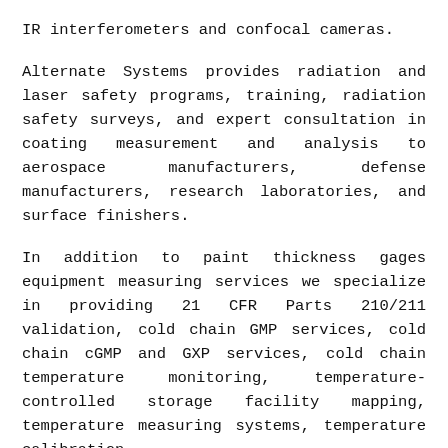IR interferometers and confocal cameras.
Alternate Systems provides radiation and laser safety programs, training, radiation safety surveys, and expert consultation in coating measurement and analysis to aerospace manufacturers, defense manufacturers, research laboratories, and surface finishers.
In addition to paint thickness gages equipment measuring services we specialize in providing 21 CFR Parts 210/211 validation, cold chain GMP services, cold chain cGMP and GXP services, cold chain temperature monitoring, temperature-controlled storage facility mapping, temperature measuring systems, temperature calibration,